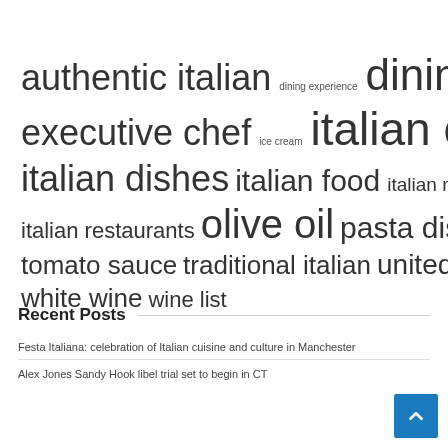[Figure (infographic): Tag cloud of Italian food/restaurant related terms in varying font sizes indicating frequency/importance: authentic italian, dining experience, dining room, executive chef, ice cream, italian cuisine, italian dishes, italian food, italian recipes, italian restaurants, olive oil, pasta dishes, tomato sauce, traditional italian, united states, white wine, wine list]
Recent Posts
Festa Italiana: celebration of Italian cuisine and culture in Manchester
Alex Jones Sandy Hook libel trial set to begin in CT